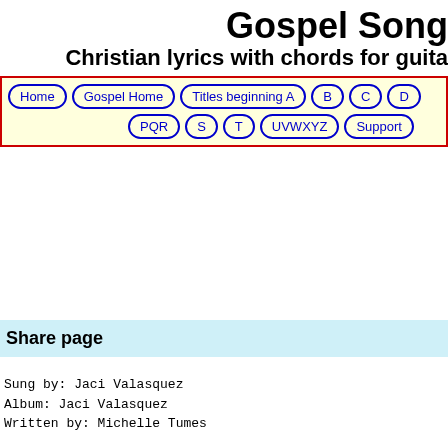Gospel Song
Christian lyrics with chords for guita
Home | Gospel Home | Titles beginning A | B | C | D | PQR | S | T | UVWXYZ | Support
Share page
Sung by:    Jaci Valasquez
Album:      Jaci Valasquez
Written by: Michelle Tumes